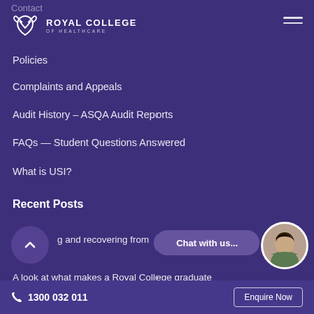Contact
[Figure (logo): Royal College of Healthcare logo with crown/shield icon and text 'ROYAL COLLEGE OF HEALTHCARE']
Policies
Complaints and Appeals
Audit History – ASQA Audit Reports
FAQs — Student Questions Answered
What is USI?
Recent Posts
…g and recovering from … e
A look at what makes a Royal College graduate
1300 032 011   Enquire Now